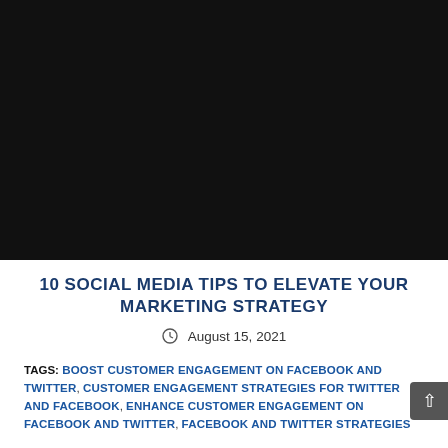[Figure (photo): Dark/black background image area at the top of the article page]
10 SOCIAL MEDIA TIPS TO ELEVATE YOUR MARKETING STRATEGY
August 15, 2021
TAGS: BOOST CUSTOMER ENGAGEMENT ON FACEBOOK AND TWITTER, CUSTOMER ENGAGEMENT STRATEGIES FOR TWITTER AND FACEBOOK, ENHANCE CUSTOMER ENGAGEMENT ON FACEBOOK AND TWITTER, FACEBOOK AND TWITTER STRATEGIES